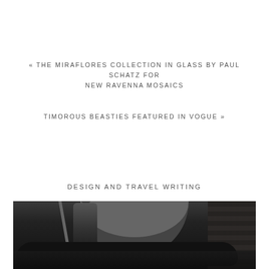« THE MIRAFLORES COLLECTION IN GLASS BY PAUL SCHATZ FOR NEW RAVENNA MOSAICS
TIMOROUS BEASTIES FEATURED IN VOGUE »
DESIGN AND TRAVEL WRITING
[Figure (photo): Black and white photograph of a Venice canal scene with a gondolier on a gondola, a stone arch bridge in the background, and brick buildings on the right]